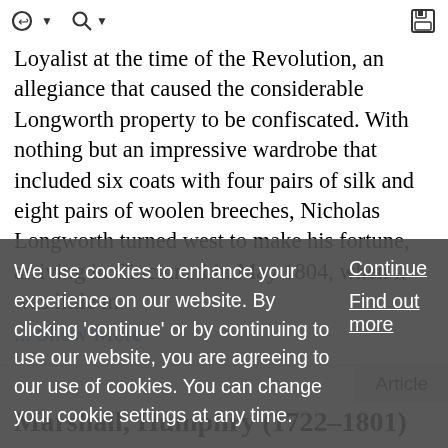toolbar with navigation and save icons
Loyalist at the time of the Revolution, an allegiance that caused the considerable Longworth property to be confiscated. With nothing but an impressive wardrobe that included six coats with four pairs of silk and eight pairs of woolen breeches, Nicholas Longworth turned west to make his fortune, arriving in Cincinnati in May 1804, when it was little m
... Show More
Article
Marshall, Humphry (1722–1801)
We use cookies to enhance your experience on our website. By clicking 'continue' or by continuing to use our website, you are agreeing to our use of cookies. You can change your cookie settings at any time.
Continue
Find out more